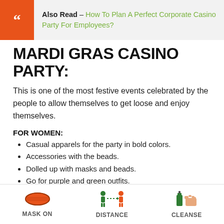Also Read – How To Plan A Perfect Corporate Casino Party For Employees?
MARDI GRAS CASINO PARTY:
This is one of the most festive events celebrated by the people to allow themselves to get loose and enjoy themselves.
FOR WOMEN:
Casual apparels for the party in bold colors.
Accessories with the beads.
Dolled up with masks and beads.
Go for purple and green outfits.
FOR MEN:
Stay casual in comfortable clothing you want to wear.
MASK ON   DISTANCE   CLEANSE